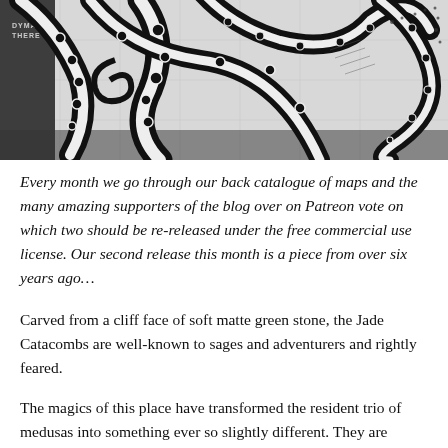[Figure (illustration): Black and white illustration of octopus tentacles with decorative suction cups and swirling patterns, with a map/grid visible faintly in the background. Small text in top-left reads 'DYMAR THERE'.]
Every month we go through our back catalogue of maps and the many amazing supporters of the blog over on Patreon vote on which two should be re-released under the free commercial use license. Our second release this month is a piece from over six years ago…
Carved from a cliff face of soft matte green stone, the Jade Catacombs are well-known to sages and adventurers and rightly feared.
The magics of this place have transformed the resident trio of medusas into something ever so slightly different. They are green, semi-translucent, and even their touch is